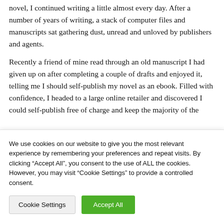every book and website available on writing a great novel, I continued writing a little almost every day. After a number of years of writing, a stack of computer files and manuscripts sat gathering dust, unread and unloved by publishers and agents.
Recently a friend of mine read through an old manuscript I had given up on after completing a couple of drafts and enjoyed it, telling me I should self-publish my novel as an ebook. Filled with confidence, I headed to a large online retailer and discovered I could self-publish free of charge and keep the majority of the
We use cookies on our website to give you the most relevant experience by remembering your preferences and repeat visits. By clicking “Accept All”, you consent to the use of ALL the cookies. However, you may visit "Cookie Settings" to provide a controlled consent.